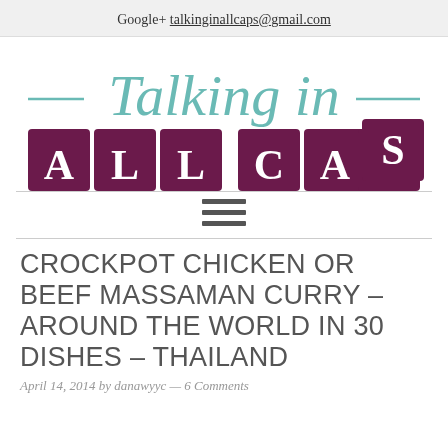Google+ talkinginallcaps@gmail.com
[Figure (logo): Talking in ALL CAPS blog logo with cursive teal 'Talking in' text and purple tile letters spelling ALL CAPS]
CROCKPOT CHICKEN OR BEEF MASSAMAN CURRY – AROUND THE WORLD IN 30 DISHES – THAILAND
April 14, 2014 by danawyyc — 6 Comments